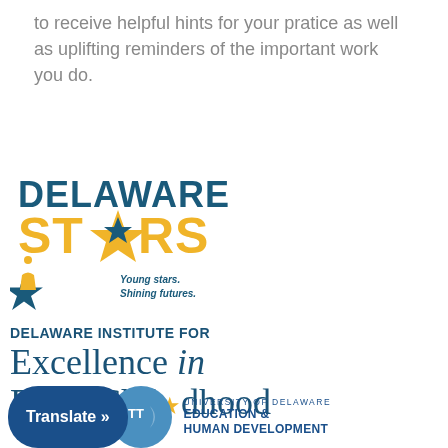to receive helpful hints for your pratice as well as uplifting reminders of the important work you do.
[Figure (logo): Delaware STARS logo — 'DELAWARE' in bold dark teal, 'STARS' in bold gold with a star shape replacing the letter A, a teal star with a hand silhouette, and tagline 'Young stars. Shining futures.' in dark teal italic]
[Figure (logo): Delaware Institute for Excellence in Early Childhood logo text — 'DELAWARE INSTITUTE FOR' in bold teal uppercase, 'Excellence in' in large serif teal italic with gold star dot on 'i', 'Early Childhood' in large serif teal]
[Figure (logo): Footer bar with navy blue Translate button, teal moon circle with TT symbol, and University of Delaware Education & Human Development text lockup]